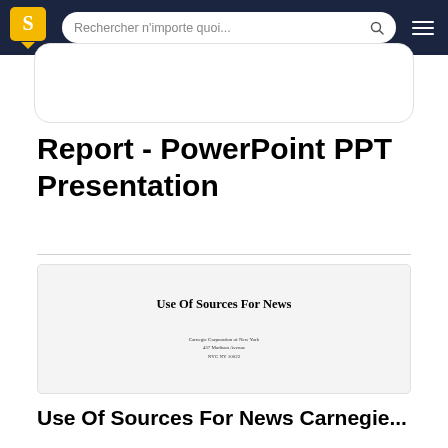Rechercher n'importe quoi...
Report - PowerPoint PPT Presentation
[Figure (screenshot): Preview thumbnail of a document titled 'Use Of Sources For News' with Carnegie Corporation of New York address at the bottom]
Use Of Sources For News Carnegie...